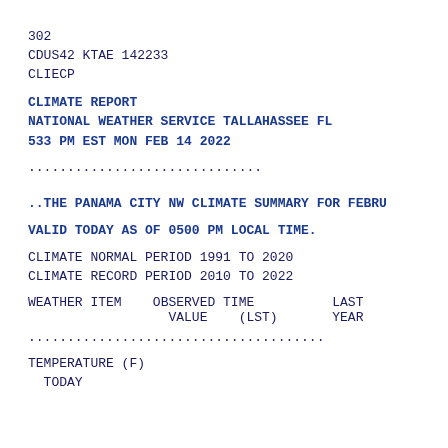302
CDUS42 KTAE 142233
CLIECP
CLIMATE REPORT
NATIONAL WEATHER SERVICE TALLAHASSEE FL
533 PM EST MON FEB 14 2022
..............................
..THE PANAMA CITY NW CLIMATE SUMMARY FOR FEBRU
VALID TODAY AS OF 0500 PM LOCAL TIME.
CLIMATE NORMAL PERIOD 1991 TO 2020
CLIMATE RECORD PERIOD 2010 TO 2022
| WEATHER ITEM | OBSERVED | TIME | LAST |
| --- | --- | --- | --- |
|  | VALUE | (LST) | YEAR |
......................................
TEMPERATURE (F)
  TODAY